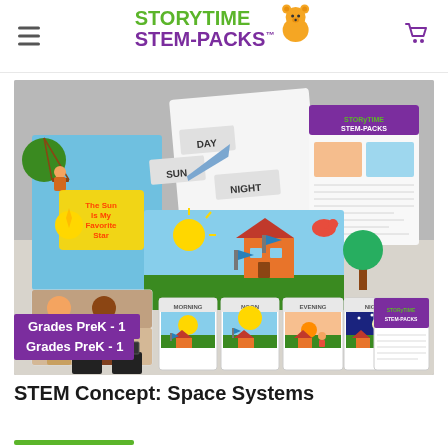Storytime STEM-Packs (logo with bear icon and shopping cart)
[Figure (photo): Product photo showing Storytime STEM-Packs educational kit contents including a children's book 'The Sun Is My Favorite Star', sorting cards labeled Morning/Noon/Evening/Night, day/night cycle activity boards, scene pieces with a house, sun, bird, tree, and a Storytime STEM-Packs information sheet, with binder clips in foreground. Purple banner reads 'Grades PreK - 1'.]
Grades PreK - 1
STEM Concept: Space Systems